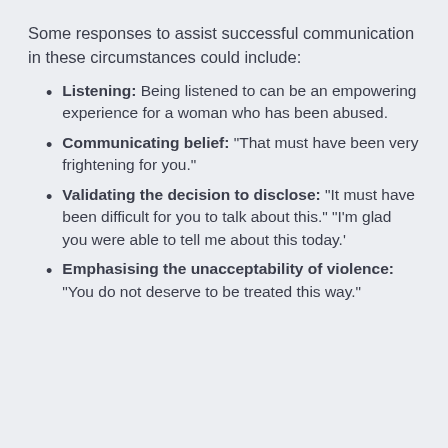Some responses to assist successful communication in these circumstances could include:
Listening: Being listened to can be an empowering experience for a woman who has been abused.
Communicating belief: "That must have been very frightening for you."
Validating the decision to disclose: "It must have been difficult for you to talk about this." "I'm glad you were able to tell me about this today.'
Emphasising the unacceptability of violence: "You do not deserve to be treated this way."